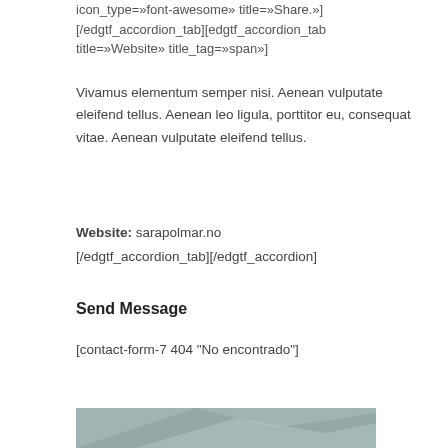icon_type=»font-awesome» title=»Share.»] [/edgtf_accordion_tab][edgtf_accordion_tab title=»Website» title_tag=»span»]
Vivamus elementum semper nisi. Aenean vulputate eleifend tellus. Aenean leo ligula, porttitor eu, consequat vitae. Aenean vulputate eleifend tellus.
Website: sarapolmar.no [/edgtf_accordion_tab][/edgtf_accordion]
Send Message
[contact-form-7 404 "No encontrado"]
[Figure (photo): Partial abstract geometric image with grey/blue tones at bottom of page]